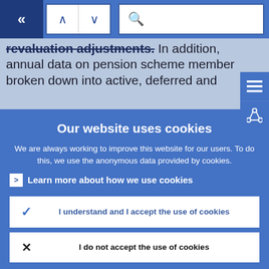[Figure (screenshot): Website navigation bar with back button (double left chevron), up/down arrow navigation buttons, and a search bar with magnifying glass icon, on a blue background]
revaluation adjustments. In addition, annual data on pension scheme member broken down into active, deferred and
Our website uses cookies
We are always working to improve this website for our users. To do this, we use the anonymous data provided by cookies.
› Learn more about how we use cookies
✓ I understand and I accept the use of cookies
✗ I do not accept the use of cookies